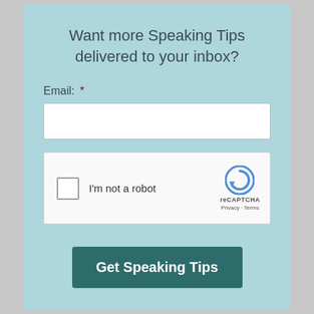Want more Speaking Tips delivered to your inbox?
Email: *
[Figure (screenshot): Empty email text input field (white rectangle with border)]
[Figure (screenshot): reCAPTCHA widget with checkbox labeled 'I'm not a robot' and reCAPTCHA logo with Privacy and Terms links]
Get Speaking Tips